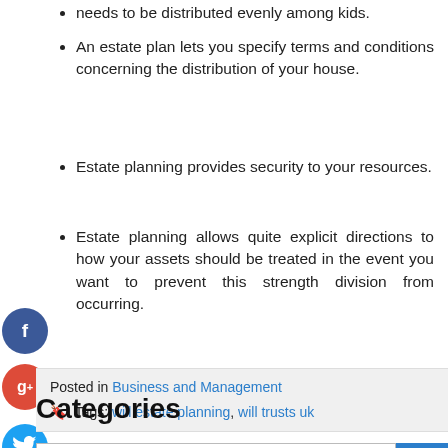needs to be distributed evenly among kids.
An estate plan lets you specify terms and conditions concerning the distribution of your house.
Estate planning provides security to your resources.
Estate planning allows quite explicit directions to how your assets should be treated in the event you want to prevent this strength division from occurring.
Posted in Business and Management
Tags: will estate planning, will trusts uk
Search ...
Categories